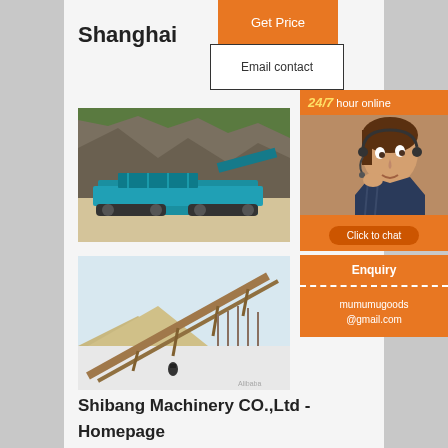Shanghai
Get Price
Email contact
[Figure (photo): Blue mobile crushing/screening machine at a quarry site with rocky cliff in background]
[Figure (photo): Industrial conveyor belt structure in a snowy outdoor setting with sand/gravel piles and trees]
[Figure (photo): 24/7 hour online customer service representative with headset, orange background]
Click to chat
Enquiry
mumumugoods@gmail.com
Shibang Machinery CO.,Ltd - Homepage